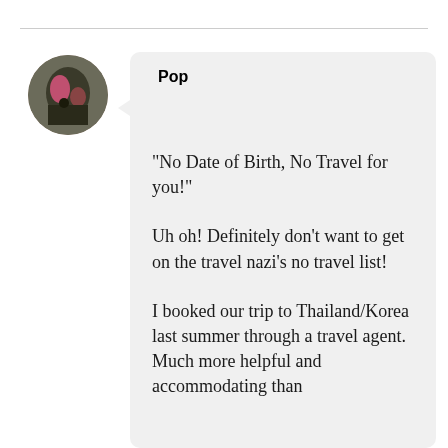[Figure (photo): Circular avatar photo of a person wearing pink, shown from above/side, with dark background]
Pop
“No Date of Birth, No Travel for you!”
Uh oh! Definitely don’t want to get on the travel nazi’s no travel list!
I booked our trip to Thailand/Korea last summer through a travel agent. Much more helpful and accommodating than